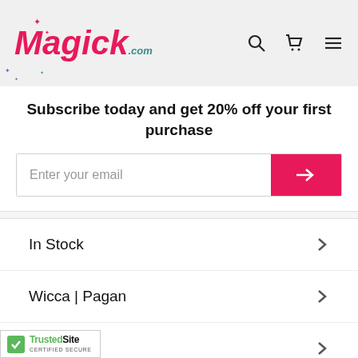[Figure (logo): Magick.com logo in pink cursive lettering with sparkle stars decoration and teal .com text]
[Figure (illustration): Header icons: search magnifier, shopping cart, and hamburger menu]
Subscribe today and get 20% off your first purchase
[Figure (other): Email subscription input field with pink arrow submit button]
In Stock
Wicca | Pagan
Books
Oracle Decks
[Figure (logo): TrustedSite Certified Secure badge with green checkmark]